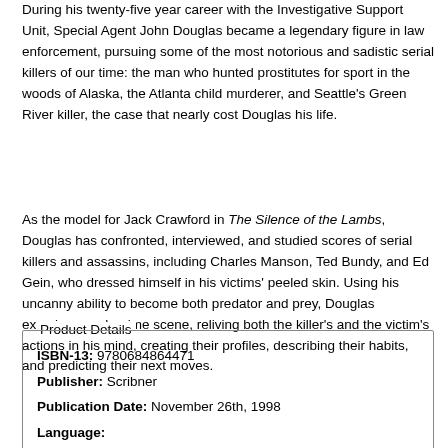During his twenty-five year career with the Investigative Support Unit, Special Agent John Douglas became a legendary figure in law enforcement, pursuing some of the most notorious and sadistic serial killers of our time: the man who hunted prostitutes for sport in the woods of Alaska, the Atlanta child murderer, and Seattle's Green River killer, the case that nearly cost Douglas his life.
As the model for Jack Crawford in The Silence of the Lambs, Douglas has confronted, interviewed, and studied scores of serial killers and assassins, including Charles Manson, Ted Bundy, and Ed Gein, who dressed himself in his victims' peeled skin. Using his uncanny ability to become both predator and prey, Douglas examines each crime scene, reliving both the killer's and the victim's actions in his mind, creating their profiles, describing their habits, and predicting their next moves.
| Field | Value |
| --- | --- |
| ISBN-13: | 9780684864471 |
| Publisher: | Scribner |
| Publication Date: | November 26th, 1998 |
| Language: |  |